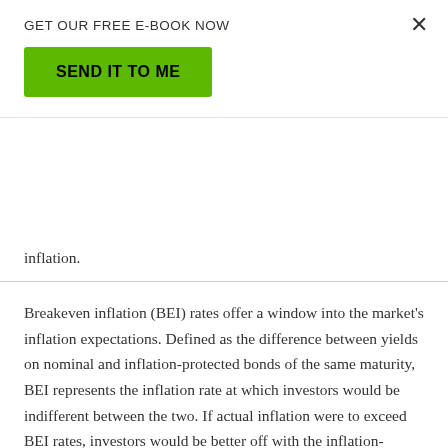GET OUR FREE E-BOOK NOW
SEND IT TO ME
inflation.
Breakeven inflation (BEI) rates offer a window into the market's inflation expectations. Defined as the difference between yields on nominal and inflation-protected bonds of the same maturity, BEI represents the inflation rate at which investors would be indifferent between the two. If actual inflation were to exceed BEI rates, investors would be better off with the inflation-protected bond; if inflation were less than BEI, the reverse would be true. BEI is therefore commonly interpreted as the market's inflation expectations.